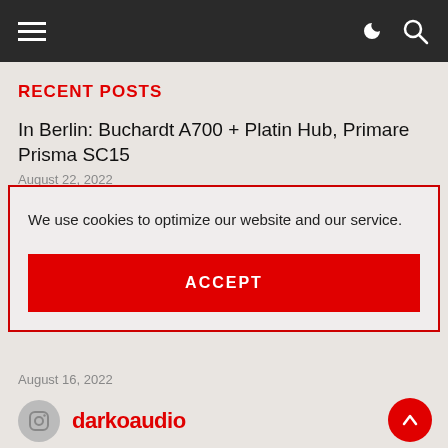Navigation bar with hamburger menu, dark/light mode toggle, and search icon
RECENT POSTS
In Berlin: Buchardt A700 + Platin Hub, Primare Prisma SC15
August 22, 2022
We use cookies to optimize our website and our service.
ACCEPT
August 16, 2022
Letters to the editor – Weeks #31 – 33, 2022
August 17, 2022
darkoaudio